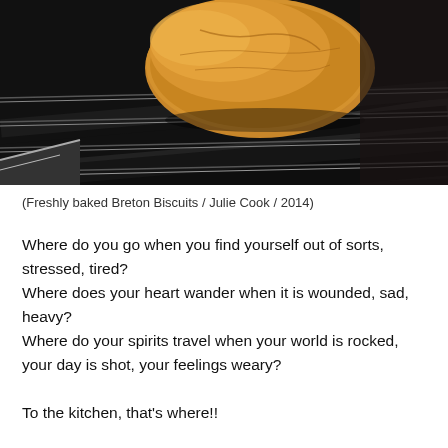[Figure (photo): Close-up photo of a freshly baked Breton biscuit on dark metal oven/grill rack, golden-brown cookie visible on black bars against dark background]
(Freshly baked Breton Biscuits / Julie Cook / 2014)
Where do you go when you find yourself out of sorts, stressed, tired?
Where does your heart wander when it is wounded, sad, heavy?
Where do your spirits travel when your world is rocked, your day is shot, your feelings weary?

To the kitchen, that's where!!